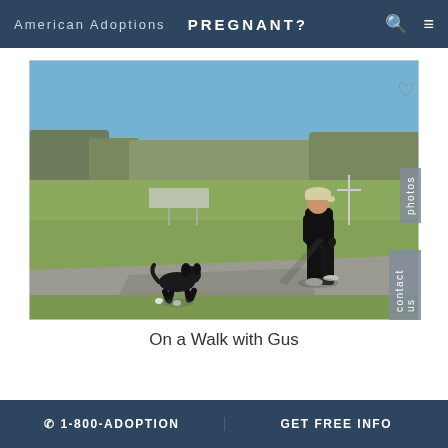American Adoptions   PREGNANT?
[Figure (photo): A woman in black athletic wear and a light cap walking a small black dog on a paved path in a park. Blue sky, bare trees, and grass field in the background. The dog casts a shadow on the path.]
On a Walk with Gus
☎ 1-800-ADOPTION   GET FREE INFO